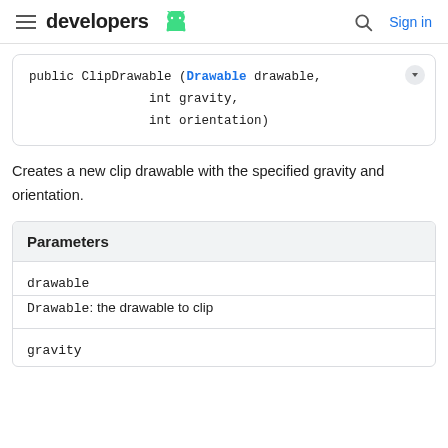developers [android logo] | Sign in
Creates a new clip drawable with the specified gravity and orientation.
| Parameters |
| --- |
| drawable |  |
| Drawable: the drawable to clip |  |
| gravity |  |